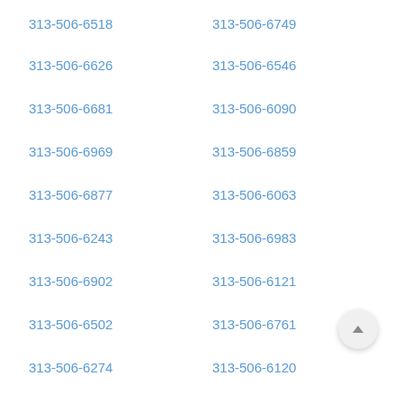313-506-6518
313-506-6749
313-506-6626
313-506-6546
313-506-6681
313-506-6090
313-506-6969
313-506-6859
313-506-6877
313-506-6063
313-506-6243
313-506-6983
313-506-6902
313-506-6121
313-506-6502
313-506-6761
313-506-6274
313-506-6120